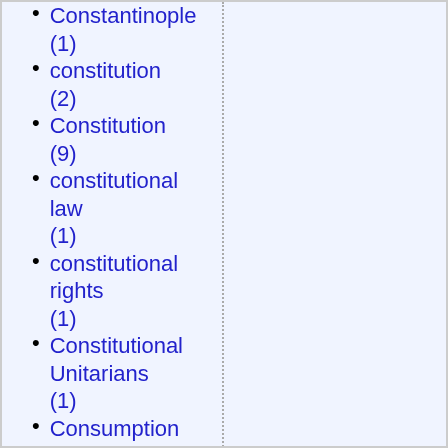Constantinople (1)
constitution (2)
Constitution (9)
constitutional law (1)
constitutional rights (1)
Constitutional Unitarians (1)
Consumption (1)
Contemporary Music (1)
contraception (4)
contraceptive mandate (1)
contributors